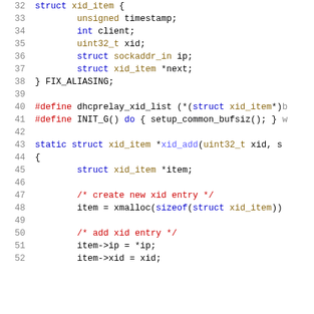[Figure (screenshot): Source code screenshot showing C code with line numbers 32-52, featuring a struct xid_item definition, preprocessor defines, and a static function xid_add. Syntax highlighted with blue keywords, brown types, red comments and preprocessor directives, black general code.]